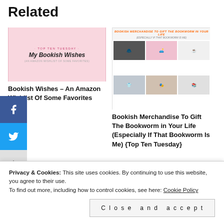Related
[Figure (illustration): Book blog post thumbnail with pink background, 'TOP TEN TUESDAY' text, 'My Bookish Wishes' title, subtitle '(An Amazon Wishlist of Some Favorites)']
Bookish Wishes – An Amazon Wishlist Of Some Favorites
[Figure (illustration): Blog post thumbnail for bookish merchandise with collage of items including sweater, pillow, t-shirt, mug, and Funko Pop figure. Header reads 'BOOKISH MERCHANDISE TO GIFT THE BOOKWORM IN YOUR LIFE (ESPECIALLY IF THAT BOOKWORM IS ME)']
Bookish Merchandise To Gift The Bookworm in Your Life (Especially If That Bookworm Is Me) {Top Ten Tuesday}
[Figure (illustration): Blog post thumbnail in pink for 'TWELVE AUDIOBOOKS I'D LOVE TO TRY AS AN AUDIOBOOK NEWBIE' with circular disc graphic]
Privacy & Cookies: This site uses cookies. By continuing to use this website, you agree to their use.
To find out more, including how to control cookies, see here: Cookie Policy
Close and accept